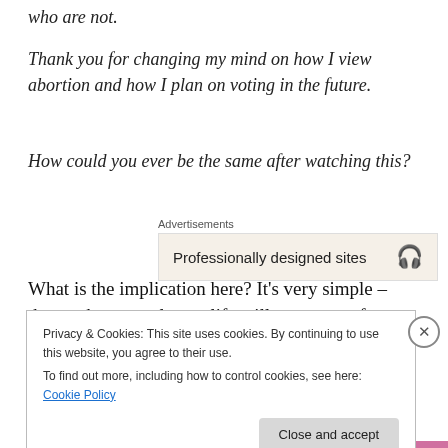who are not.
Thank you for changing my mind on how I view abortion and how I plan on voting in the future.
How could you ever be the same after watching this?
Advertisements
[Figure (other): Advertisement box showing 'Professionally designed sites' with a headphones icon]
What is the implication here? It’s very simple – those who are truly pro-life will never vote for a pro-abortion
Privacy & Cookies: This site uses cookies. By continuing to use this website, you agree to their use.
To find out more, including how to control cookies, see here: Cookie Policy
Close and accept